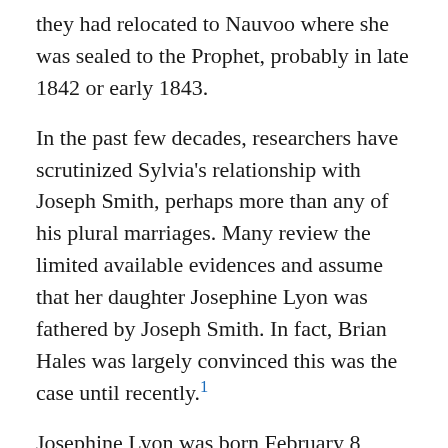they had relocated to Nauvoo where she was sealed to the Prophet, probably in late 1842 or early 1843.
In the past few decades, researchers have scrutinized Sylvia's relationship with Joseph Smith, perhaps more than any of his plural marriages. Many review the limited available evidences and assume that her daughter Josephine Lyon was fathered by Joseph Smith. In fact, Brian Hales was largely convinced this was the case until recently.[1]
Josephine Lyon was born February 8, 1844, which correlates with a conception date of approximately May 18, 1843, if she were full term. In 2016, Dr. Ugo Perego shared the results of his painstaking analysis of DNA data showing Windsor was Josephine's father.[2] For many this was not the expected result, but it